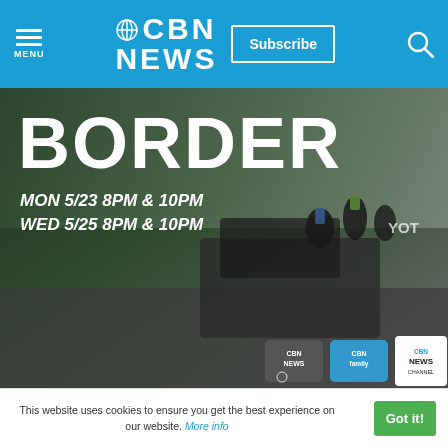CBN NEWS | Subscribe | MENU | Search
[Figure (screenshot): CBN News promotional banner for a TV special about the border. Text reads: BORDER. MON 5/23 8PM & 10PM, WED 5/25 8PM & 10PM. Background shows people on a vehicle. CBN News, CBN Family, and CBN News Channel logos shown at bottom right.]
Did you know?
God is everywhere—even in the news. That's why we view every news story through the lens of faith. We are committed to delivering quality independent Christian journalism you can trust.
This website uses cookies to ensure you get the best experience on our website. More info | Got it!